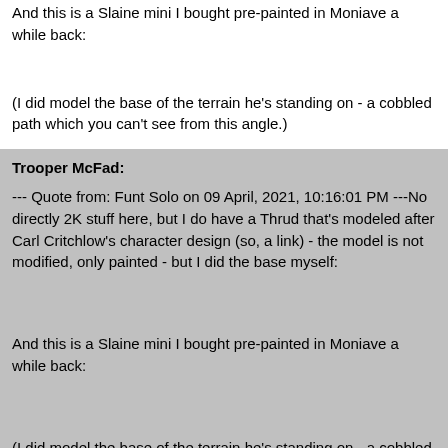And this is a Slaine mini I bought pre-painted in Moniave a while back:
(I did model the base of the terrain he's standing on - a cobbled path which you can't see from this angle.)
Trooper McFad:
--- Quote from: Funt Solo on 09 April, 2021, 10:16:01 PM ---No directly 2K stuff here, but I do have a Thrud that's modeled after Carl Critchlow's character design (so, a link) - the model is not modified, only painted - but I did the base myself:
And this is a Slaine mini I bought pre-painted in Moniave a while back:
(I did model the base of the terrain he's standing on - a cobbled path which you can't see from this angle.)